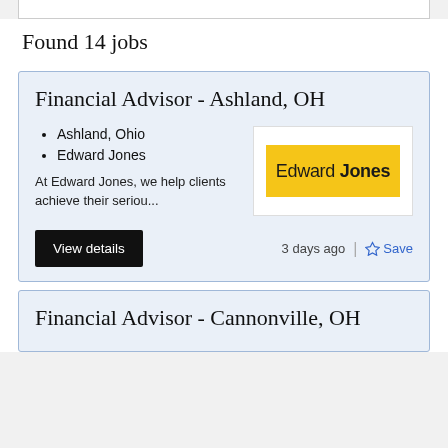Found 14 jobs
Financial Advisor - Ashland, OH
Ashland, Ohio
Edward Jones
At Edward Jones, we help clients achieve their seriou...
[Figure (logo): Edward Jones logo — yellow background with 'Edward Jones' text in black]
View details
3 days ago
Save
Financial Advisor - Cannonville, OH